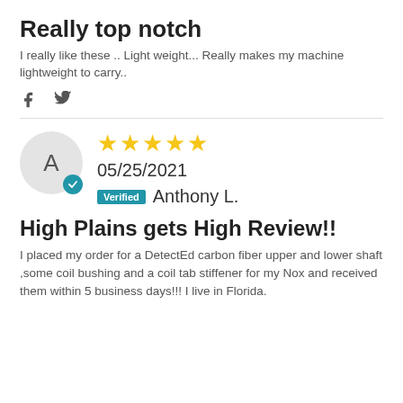Really top notch
I really like these .. Light weight... Really makes my machine lightweight to carry..
[Figure (infographic): Social sharing icons: Facebook (f) and Twitter (bird)]
[Figure (infographic): 5-star rating with date 05/25/2021 and verified reviewer Anthony L., avatar circle with letter A and blue checkmark]
High Plains gets High Review!!
I placed my order for a DetectEd carbon fiber upper and lower shaft ,some coil bushing and a coil tab stiffener for my Nox and received them within 5 business days!!! I live in Florida.